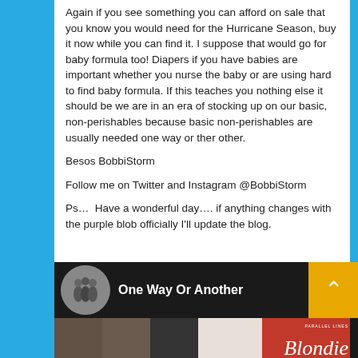Again if you see something you can afford on sale that you know you would need for the Hurricane Season, buy it now while you can find it. I suppose that would go for baby formula too! Diapers if you have babies are important whether you nurse the baby or are using hard to find baby formula. If this teaches you nothing else it should be we are in an era of stocking up on our basic, non-perishables because basic non-perishables are usually needed one way or ther other.
Besos BobbiStorm
Follow me on Twitter and Instagram @BobbiStorm
Ps…  Have a wonderful day…. if anything changes with the purple blob officially I'll update the blog.
[Figure (screenshot): Music player bar showing 'One Way Or Another' with album art thumbnail, an up-arrow button in orange/yellow, and a strip of album covers at the bottom including a Blondie 'Parallel Lines' album.]